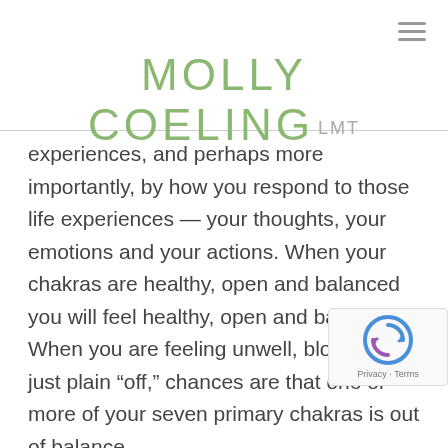MOLLY COELING LMT
experiences, and perhaps more importantly, by how you respond to those life experiences — your thoughts, your emotions and your actions. When your chakras are healthy, open and balanced you will feel healthy, open and balanced. When you are feeling unwell, blocked or just plain “off,” chances are that one or more of your seven primary chakras is out of balance.
So how do your chakras relate to your physical, psychological, emotional and spiritual health? Let me provide an example.
The first chakra chakra...